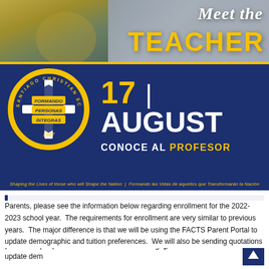[Figure (illustration): Header banner with 'Meet the TEACHER' text over a blurred photo background showing a student in yellow/green floral top at a desk. Santiago Christian School logo on blue banner. Date: 17 | AUGUST, subtitle: CONOCE AL PROFESOR. Tagline: 'Shaping the Lives of those who will Shape the Nation | Formando las Vidas de aquellos que Transformarán la Nación']
SPRING 2022 ENROLLMENT
Parents, please see the information below regarding enrollment for the 2022-2023 school year.  The requirements for enrollment are very similar to previous years.  The major difference is that we will be using the FACTS Parent Portal to update demographic and tuition preferences.  We will also be sending quotations